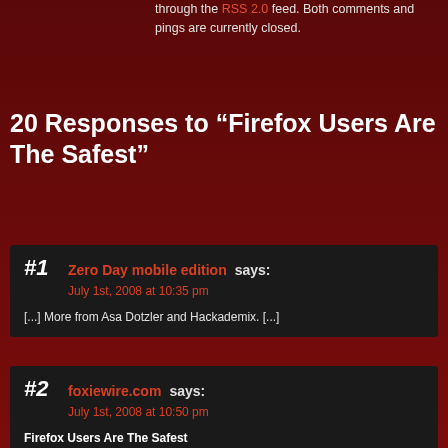through the RSS 2.0 feed. Both comments and pings are currently closed.
20 Responses to “Firefox Users Are The Safest”
#1 Zero Day mobile edition says: July 1st, 2008 at 10:35 pm
[...] More from Asa Dotzler and Hackademix. [...]
#2 foxiewire.com says: July 1st, 2008 at 10:50 pm
Firefox Users Are The Safest
According to an independent study by Google Switzerland, IBM Internet Security Systems and CSG ETH Zurich, Mozilla Firefox users are the safest among web surfers (on average), because they are more likely to be running the latest and most secure versi...
#3 Ronald says: July 1st, 2008 at 10:59 pm
LOL, right. Like that proves anything. Here’s an idea, let’s share